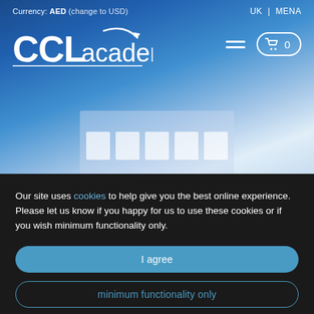[Figure (screenshot): CCL Academy website header with gradient blue background, logo, navigation icons, hamburger menu, cart button, currency selector, and region links (UK | MENA). A building silhouette with windows is visible at the bottom of the blue area.]
Our site uses cookies to help give you the best online experience. Please let us know if you happy for us to use these cookies or if you wish minimum functionality only.
I agree
minimum functionality only